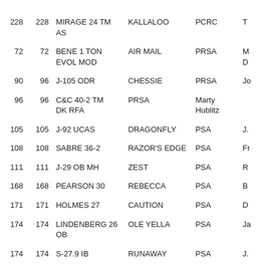| Col1 | Col2 | Boat Type | Boat Name | Club | Skipper |
| --- | --- | --- | --- | --- | --- |
| 228 | 228 | MIRAGE 24 TM AS | KALLALOO | PCRC | T |
| 72 | 72 | BENE 1 TON EVOL MOD | AIR MAIL | PRSA | M D |
| 90 | 96 | J-105 ODR | CHESSIE | PRSA | Jo |
| 96 | 96 | C&C 40-2 TM DK RFA | PRSA | Marty Hublitz |  |
| 105 | 105 | J-92 UCAS | DRAGONFLY | PSA | J. |
| 108 | 108 | SABRE 36-2 | RAZOR'S EDGE | PSA | Fr |
| 111 | 111 | J-29 OB MH | ZEST | PSA | R |
| 168 | 168 | PEARSON 30 | REBECCA | PSA | B |
| 171 | 171 | HOLMES 27 | CAUTION | PSA | D |
| 174 | 174 | LINDENBERG 26 OB | OLE YELLA | PSA | Ja |
| 174 | 174 | S-27.9 IB | RUNAWAY | PSA | J. |